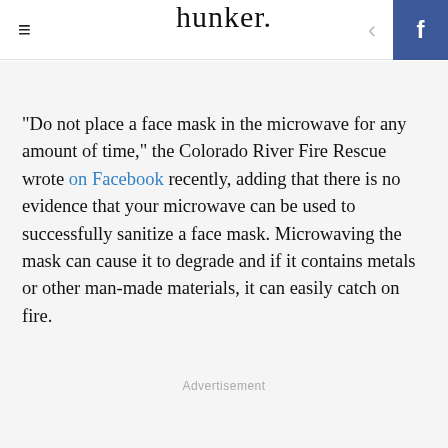hunker
"Do not place a face mask in the microwave for any amount of time," the Colorado River Fire Rescue wrote on Facebook recently, adding that there is no evidence that your microwave can be used to successfully sanitize a face mask. Microwaving the mask can cause it to degrade and if it contains metals or other man-made materials, it can easily catch on fire.
Advertisement